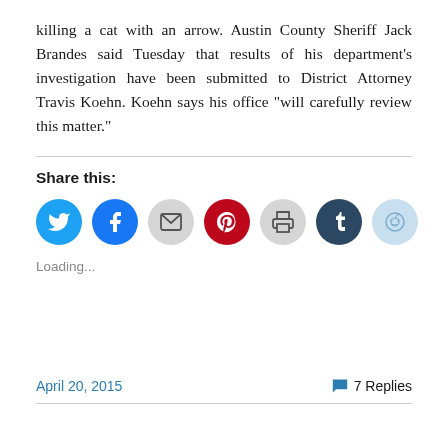killing a cat with an arrow. Austin County Sheriff Jack Brandes said Tuesday that results of his department’s investigation have been submitted to District Attorney Travis Koehn. Koehn says his office “will carefully review this matter.”
Share this:
[Figure (other): Social share icon buttons: Twitter (blue), Facebook (blue), Email (gray), Pinterest (red), Print (gray), Tumblr (dark blue), Reddit (light blue)]
Loading...
April 20, 2015
7 Replies